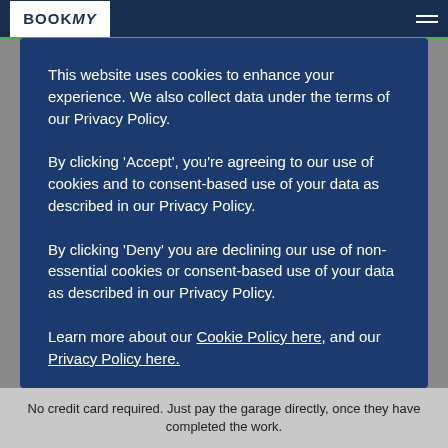BOOKMV
This website uses cookies to enhance your experience. We also collect data under the terms of our Privacy Policy.
By clicking 'Accept', you're agreeing to our use of cookies and to consent-based use of your data as described in our Privacy Policy.
By clicking 'Deny' you are declining our use of non-essential cookies or consent-based use of your data as described in our Privacy Policy.
Learn more about our Cookie Policy here, and our Privacy Policy here.
No credit card required. Just pay the garage directly, once they have completed the work.